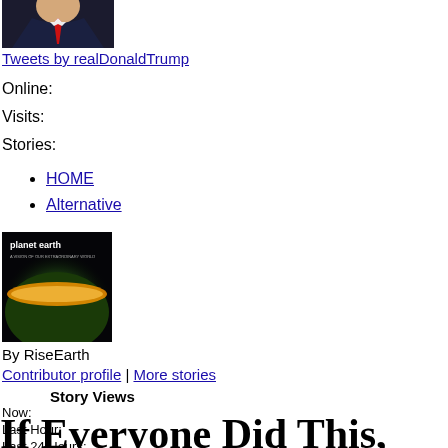[Figure (photo): Partial photo of a man in a dark suit with a red tie, cropped at the top of the page]
Tweets by realDonaldTrump
Online:
Visits:
Stories:
HOME
Alternative
[Figure (photo): Planet Earth book/documentary cover showing a glowing Earth with planet earth text at top]
By RiseEarth
Contributor profile | More stories
Story Views
Now:
Last Hour:
Last 24 Hours:
Total:
If Everyone Did This, There'd